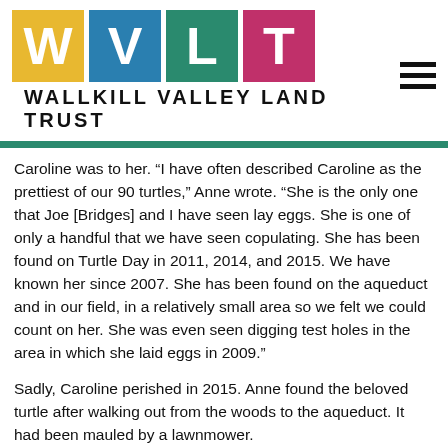[Figure (logo): Wallkill Valley Land Trust logo: four colored squares with letters W, V, L, T and organization name below, plus hamburger menu icon]
Caroline was to her. “I have often described Caroline as the prettiest of our 90 turtles,” Anne wrote. “She is the only one that Joe [Bridges] and I have seen lay eggs. She is one of only a handful that we have seen copulating. She has been found on Turtle Day in 2011, 2014, and 2015. We have known her since 2007. She has been found on the aqueduct and in our field, in a relatively small area so we felt we could count on her. She was even seen digging test holes in the area in which she laid eggs in 2009.”
Sadly, Caroline perished in 2015. Anne found the beloved turtle after walking out from the woods to the aqueduct. It had been mauled by a lawnmower.
Anne was heartbroken. The New York City DEP normally mows